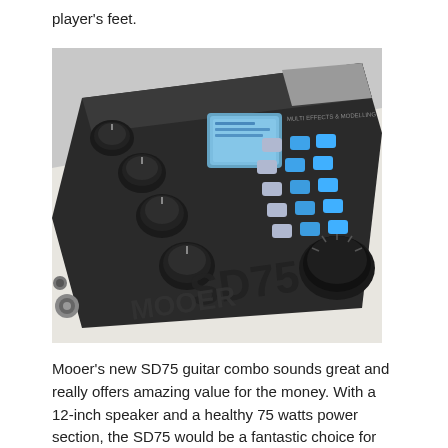player's feet.
[Figure (photo): Close-up photo of a Mooer SD75 guitar combo unit showing its top panel with multiple black control knobs, a small LCD display screen, and illuminated blue and grey buttons arranged in a grid pattern. The device has 'MOOER SD75' branding visible along the bottom edge.]
Mooer's new SD75 guitar combo sounds great and really offers amazing value for the money. With a 12-inch speaker and a healthy 75 watts power section, the SD75 would be a fantastic choice for any covers